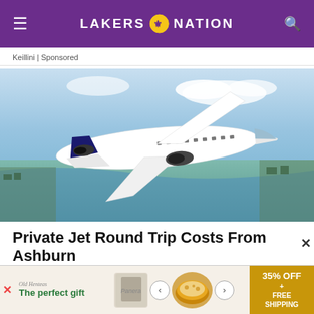LAKERS NATION
Keillini | Sponsored
[Figure (photo): A white private jet flying over a city with a river and blue sky in the background]
Private Jet Round Trip Costs From Ashburn
Private Jets | Search Ads | Sponsored
[Figure (infographic): Bottom banner ad: The perfect gift with food product images, arrows, and 35% OFF + FREE SHIPPING offer]